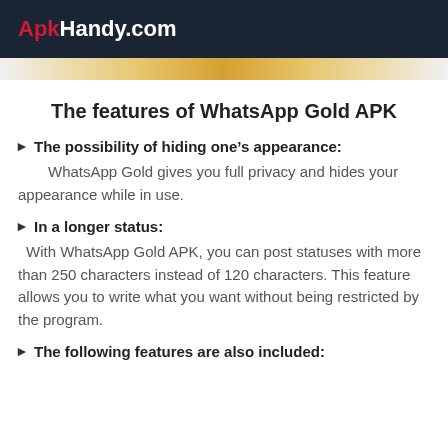ApkHandy.com
[Figure (other): Banner strip with blurred/golden gradient advertisement bar]
The features of WhatsApp Gold APK
The possibility of hiding one’s appearance:
WhatsApp Gold gives you full privacy and hides your appearance while in use.
In a longer status:
With WhatsApp Gold APK, you can post statuses with more than 250 characters instead of 120 characters. This feature allows you to write what you want without being restricted by the program.
The following features are also included: